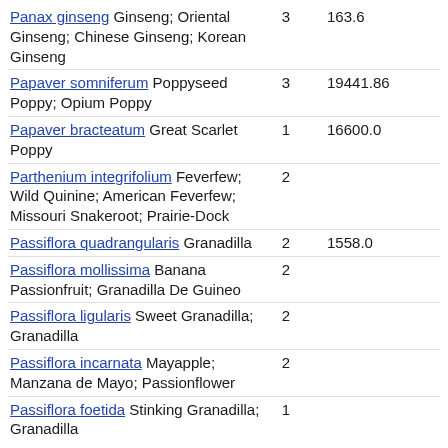| Name |  |  |
| --- | --- | --- |
| Panax ginseng Ginseng; Oriental Ginseng; Chinese Ginseng; Korean Ginseng | 3 | 163.6 |
| Papaver somniferum Poppyseed Poppy; Opium Poppy | 3 | 19441.86 |
| Papaver bracteatum Great Scarlet Poppy | 1 | 16600.0 |
| Parthenium integrifolium Feverfew; Wild Quinine; American Feverfew; Missouri Snakeroot; Prairie-Dock | 2 |  |
| Passiflora quadrangularis Granadilla | 2 | 1558.0 |
| Passiflora mollissima Banana Passionfruit; Granadilla De Guineo | 2 |  |
| Passiflora ligularis Sweet Granadilla; Granadilla | 2 |  |
| Passiflora incarnata Mayapple; Manzana de Mayo; Passionflower | 2 |  |
| Passiflora foetida Stinking Granadilla; Granadilla | 1 |  |